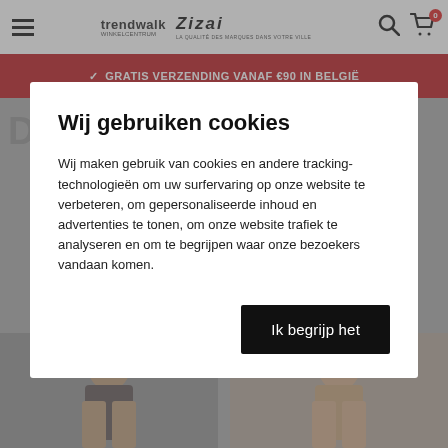trendwalk / ZIZAI — navigation bar with hamburger menu, search and cart icons
✓ GRATIS VERZENDING VANAF €90 IN BELGIË
Wij gebruiken cookies
Wij maken gebruik van cookies en andere tracking-technologieën om uw surfervaring op onze website te verbeteren, om gepersonaliseerde inhoud en advertenties te tonen, om onze website trafiek te analyseren en om te begrijpen waar onze bezoekers vandaan komen.
Ik begrijp het
[Figure (photo): Bottom portion of page showing two product photos of women's underwear on models, partially obscured by the cookie consent modal.]